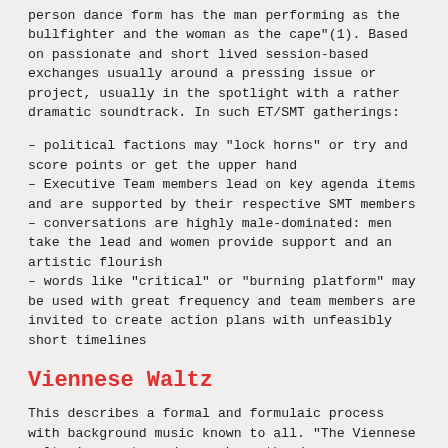person dance form has the man performing as the bullfighter and the woman as the cape"(1). Based on passionate and short lived session-based exchanges usually around a pressing issue or project, usually in the spotlight with a rather dramatic soundtrack. In such ET/SMT gatherings:
– political factions may "lock horns" or try and score points or get the upper hand
– Executive Team members lead on key agenda items and are supported by their respective SMT members
– conversations are highly male-dominated: men take the lead and women provide support and an artistic flourish
– words like "critical" or "burning platform" may be used with great frequency and team members are invited to create action plans with unfeasibly short timelines
Viennese Waltz
This describes a formal and formulaic process with background music known to all. "The Viennese waltz is a rotary dance where the dancers are constantly turning either toward the leader's right (natural) or toward the leader's left (reverse), interspersed with non-rotating change steps to switch between the direction of rotation." (2).
Your teams dance in this way if: